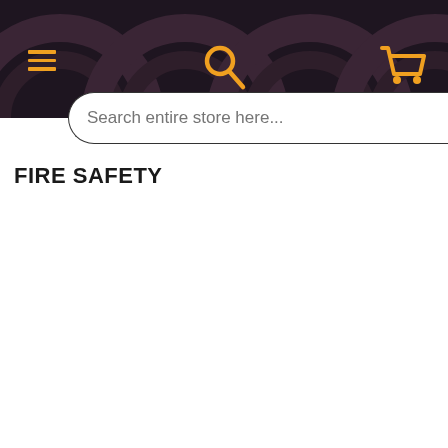[Figure (screenshot): Dark navigation header bar with decorative circular arc watermark patterns in dark brown/purple tones. Contains hamburger menu icon (three orange horizontal lines) on left, orange magnifying glass search icon in center, and orange shopping cart icon on right.]
Search entire store here...
FIRE SAFETY